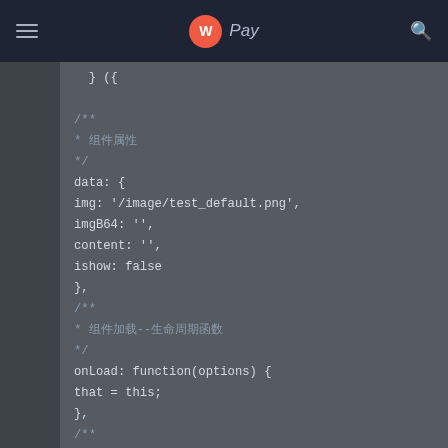W Pay (navigation bar with logo and search)
} ({
/**
* 组件属性
*/
data: {
img: '/image/test_default.png',
imgB64: '',
content: '',
ishow: false
},
/**
* 组件加载--生命周期函数
*/
onLoad: function(options) {
that = this;
},
/**
* 相册
*/
*/
chooseimgTap: function() {